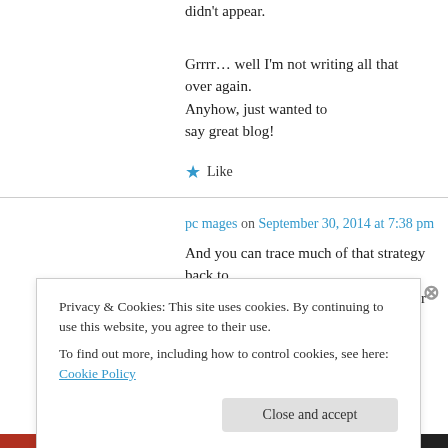didn't appear.
Grrrr… well I'm not writing all that over again. Anyhow, just wanted to say great blog!
★ Like
pc mages on September 30, 2014 at 7:38 pm
And you can trace much of that strategy back to a 2008 memo by San Francisco's master of
Privacy & Cookies: This site uses cookies. By continuing to use this website, you agree to their use.
To find out more, including how to control cookies, see here: Cookie Policy
Close and accept